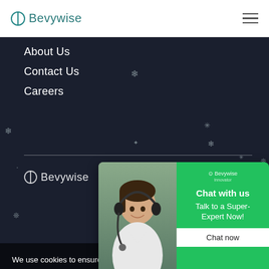Bevywise
About Us
Contact Us
Careers
[Figure (logo): Bevywise logo in white on dark background]
We use cookies to ensure ... our website. If you continu...
[Figure (photo): Customer support agent with headset smiling, alongside a green chat widget panel showing 'Chat with us - Talk to a Super-Expert Now' and a 'Chat now' button]